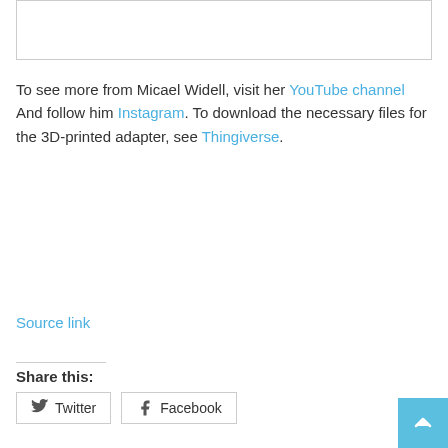[Figure (other): Image placeholder box at top of page]
To see more from Micael Widell, visit her YouTube channel And follow him Instagram. To download the necessary files for the 3D-printed adapter, see Thingiverse.
Source link
Share this:
Twitter  Facebook